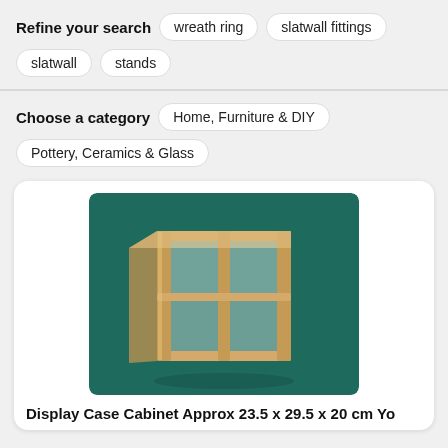Refine your search
wreath ring
slatwall fittings
slatwall
stands
Choose a category
Home, Furniture & DIY
Pottery, Ceramics & Glass
[Figure (photo): A wooden and glass display case cabinet with pine frame and clear acrylic/glass panels, photographed on a dark teal background]
Display Case Cabinet Approx 23.5 x 29.5 x 20 cm Yo